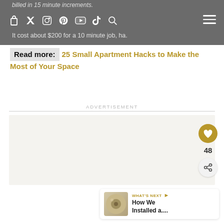billed in 15 minute increments.
It cost about $200 for a 10 minute job, ha.
Read more: 25 Small Apartment Hacks to Make the Most of Your Space
ADVERTISEMENT
[Figure (photo): Advertisement placeholder area, light beige/grey background]
[Figure (photo): What's Next thumbnail - small circular image of hardware/fixture]
WHAT'S NEXT → How We Installed a....